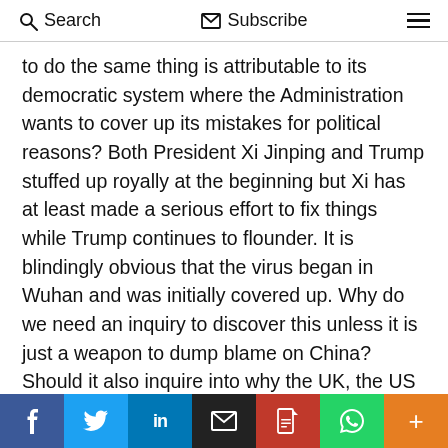Search   Subscribe   ☰
to do the same thing is attributable to its democratic system where the Administration wants to cover up its mistakes for political reasons? Both President Xi Jinping and Trump stuffed up royally at the beginning but Xi has at least made a serious effort to fix things while Trump continues to flounder. It is blindingly obvious that the virus began in Wuhan and was initially covered up. Why do we need an inquiry to discover this unless it is just a weapon to dump blame on China? Should it also inquire into why the UK, the US and a number of European
f  𝕏  in  ✉  PDF  WhatsApp  +